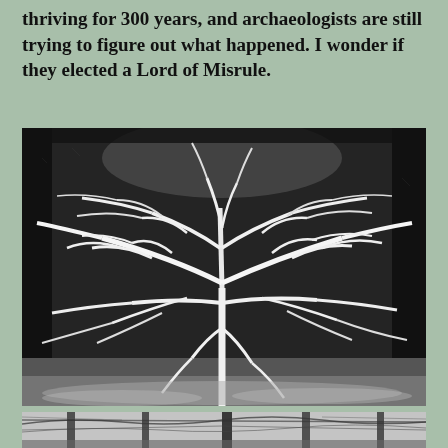thriving for 300 years, and archaeologists are still trying to figure out what happened. I wonder if they elected a Lord of Misrule.
[Figure (photo): Black and white photograph of a bare tree with snow-covered branches spread wide, set against a dense dark background of winter vegetation.]
[Figure (photo): Black and white photograph of bare winter trees with spreading branches against a light sky, partially visible at the bottom of the page.]